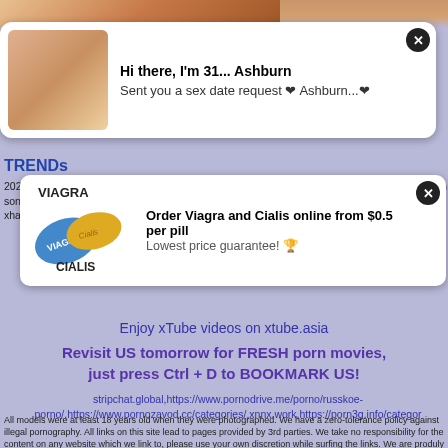[Figure (photo): Top strip showing partial image of person and advertisement popup for dating/sex date with close button]
Hi there, I'm 31... Ashburn
Sent you a sex date request ❤ Ashburn...❤
TRENDs
2027 nac her irw unc in h gog jett hqpomom, mom sexxx anal, takeoutwinkos, mosar mom son xxx, rouka and chizaka in doraemon cartoon xnxx, son forced his sleeping mom fr sex xhamster, kennedykisses/out.php, japanese,
[Figure (illustration): Viagra and Cialis pill advertisement popup with blue and yellow pill images]
VIAGRA
Order Viagra and Cialis online from $0.5 per pill
Lowest price guarantee! 🏆
CIALIS
Enjoy xTube videos on xtube.asia
Revisit US tomorrow for FRESH porn movies, just press Ctrl + D to BOOKMARK US!
stripchat.global,https://www.pornodrive.me/porno/russkoe-porno/,https://www.pornozavod.cc/categories/,xnnx.work,https://porn3g.info/categor
All models were at least 18 years old when they were photographed. We have a zero-tolerance policy against illegal pornography. All links on this site lead to pages provided by 3rd parties. We take no responsibility for the content on any website which we link to, please use your own discretion while surfing the links. We are produly labeled with the ICRA.
jenna marbles blowjob, karina white lesbian, joanna angel interracial, hot sex slave, kendrakashmire hot sexy big boobs, XnXX, xVideos, beeg, Xxx, got.sex, xHamster, YouPorn